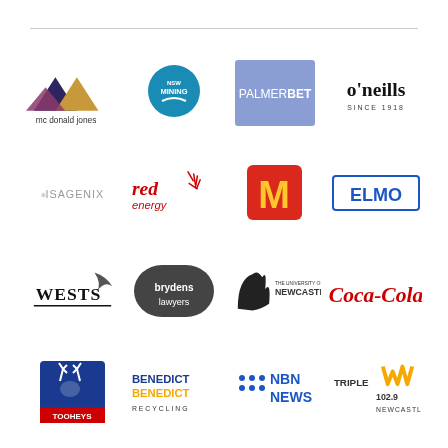[Figure (logo): Grid of sponsor/partner logos: McDonald Jones, NSW Mining, PalmerBet, O'Neills, Isagenix, Red Energy, McDonald's, ELMO, Wests, Brydens Lawyers, University of Newcastle, Coca-Cola, Tooheys, Benedict Recycling, NBN News, Triple M Newcastle 102.9]